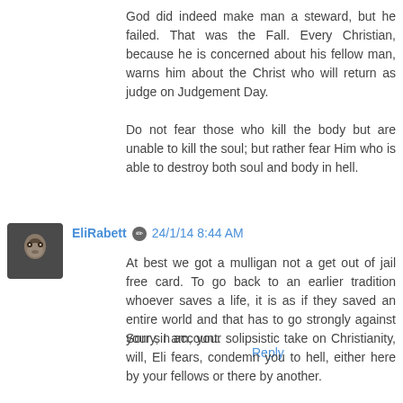God did indeed make man a steward, but he failed. That was the Fall. Every Christian, because he is concerned about his fellow man, warns him about the Christ who will return as judge on Judgement Day.

Do not fear those who kill the body but are unable to kill the soul; but rather fear Him who is able to destroy both soul and body in hell.
Reply
EliRabett  24/1/14 8:44 AM
At best we got a mulligan not a get out of jail free card. To go back to an earlier tradition whoever saves a life, it is as if they saved an entire world and that has to go strongly against your sin account.
Sorry, I am, your solipsistic take on Christianity, will, Eli fears, condemn you to hell, either here by your fellows or there by another.
Reply